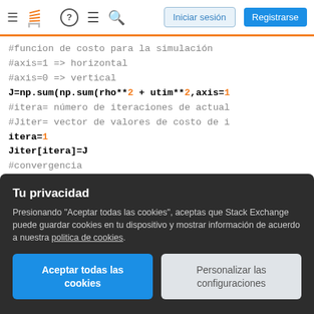Stack Overflow navigation bar with Iniciar sesión and Registrarse buttons
#funcion de costo para la simulación
#axis=1 => horizontal
#axis=0 => vertical
J=np.sum(np.sum(rho**2 + utim**2,axis=1
#itera= número de iteraciones de actual
#Jiter= vector de valores de costo de i
itera=1
Jiter[itera]=J
#convergencia
#test=0 => no ocurre test=1 => ocurre
test=0
#Tolerancias
tol=10**(-4)
Tu privacidad
Presionando "Aceptar todas las cookies", aceptas que Stack Exchange puede guardar cookies en tu dispositivo y mostrar información de acuerdo a nuestra politica de cookies.
Aceptar todas las cookies
Personalizar las configuraciones